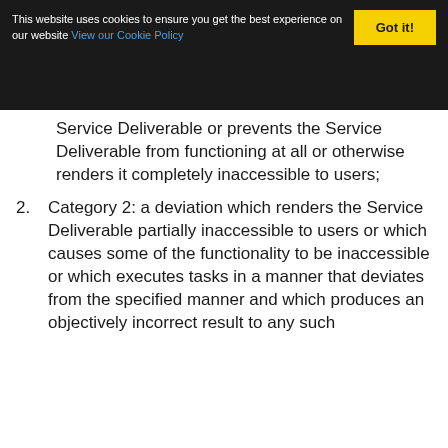This website uses cookies to ensure you get the best experience on our website View our Cookie Policy  Got it!
Service Deliverable or prevents the Service Deliverable from functioning at all or otherwise renders it completely inaccessible to users;
Category 2: a deviation which renders the Service Deliverable partially inaccessible to users or which causes some of the functionality to be inaccessible or which executes tasks in a manner that deviates from the specified manner and which produces an objectively incorrect result to any such